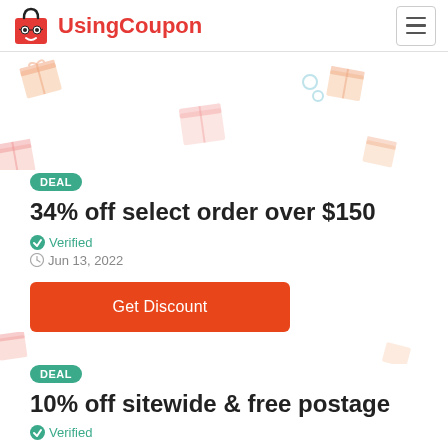UsingCoupon
[Figure (illustration): Decorative background with scattered coupon/gift box icons]
DEAL
34% off select order over $150
Verified
Jun 13, 2022
Get Discount
DEAL
10% off sitewide & free postage
Verified